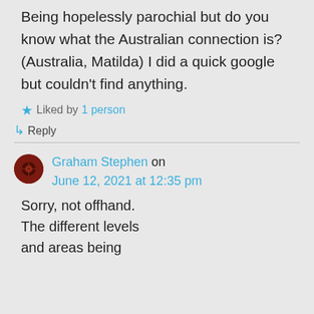Being hopelessly parochial but do you know what the Australian connection is? (Australia, Matilda) I did a quick google but couldn't find anything.
Liked by 1 person
↳ Reply
Graham Stephen on June 12, 2021 at 12:35 pm
Sorry, not offhand. The different levels and areas being